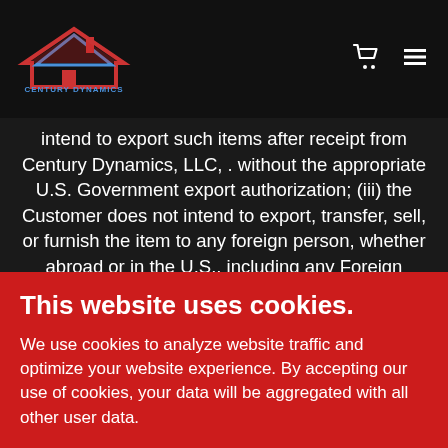[Figure (logo): Century Dynamics logo with red and blue house/roof graphic and text 'CENTURY DYNAMICS' below]
intend to export such items after receipt from Century Dynamics, LLC, . without the appropriate U.S. Government export authorization; (iii) the Customer does not intend to export, transfer, sell, or furnish the item to any foreign person, whether abroad or in the U.S., including any Foreign Embassy in the U.S., without the appropriate U.S. Government export authorization; (iv) the Customer understands that a foreign person under the ITAR § 120.16 means "any
This website uses cookies.
We use cookies to analyze website traffic and optimize your website experience. By accepting our use of cookies, your data will be aggregated with all other user data.